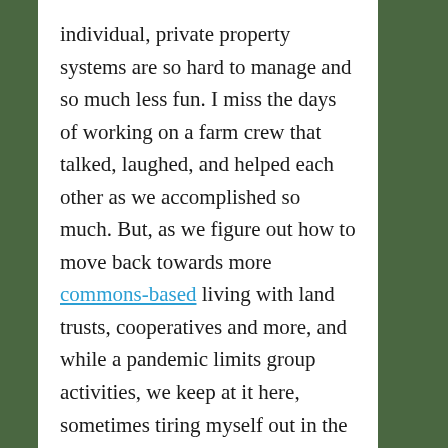individual, private property systems are so hard to manage and so much less fun. I miss the days of working on a farm crew that talked, laughed, and helped each other as we accomplished so much. But, as we figure out how to move back towards more commons-based living with land trusts, cooperatives and more, and while a pandemic limits group activities, we keep at it here, sometimes tiring myself out in the growing season. I have gotten smarter about what to